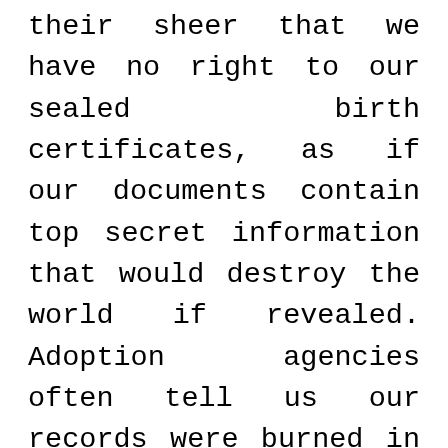their sheer that we have no right to our sealed birth certificates, as if our documents contain top secret information that would destroy the world if revealed. Adoption agencies often tell us our records were burned in a fire. Society demands that we feel “grateful” for having been adopted. We are told we were “better off” and should not “open Pandora’s Box”. This stigma has been passed down through the